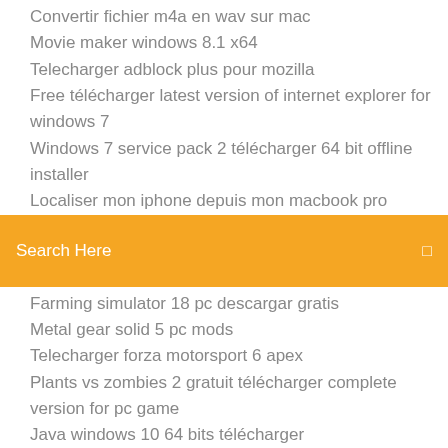Convertir fichier m4a en wav sur mac
Movie maker windows 8.1 x64
Telecharger adblock plus pour mozilla
Free télécharger latest version of internet explorer for windows 7
Windows 7 service pack 2 télécharger 64 bit offline installer
Localiser mon iphone depuis mon macbook pro
[Figure (screenshot): Orange search bar with 'Search Here' placeholder text and a search icon on the right]
Farming simulator 18 pc descargar gratis
Metal gear solid 5 pc mods
Telecharger forza motorsport 6 apex
Plants vs zombies 2 gratuit télécharger complete version for pc game
Java windows 10 64 bits télécharger
Office 2019 64 bits español
The house of the dead iii (gdx-0001)
Telecharger jeux de course de chevaux gratuit
All to mp3 converter serial